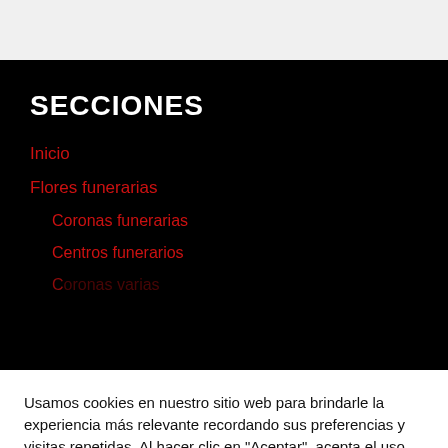SECCIONES
Inicio
Flores funerarias
Coronas funerarias
Centros funerarios
Usamos cookies en nuestro sitio web para brindarle la experiencia más relevante recordando sus preferencias y visitas repetidas. Al hacer clic en "Aceptar", acepta el uso de TODAS las cookies.
Cookie settings
ACEP...
[Figure (illustration): Green phone icon circle button overlapping cookie consent bar]